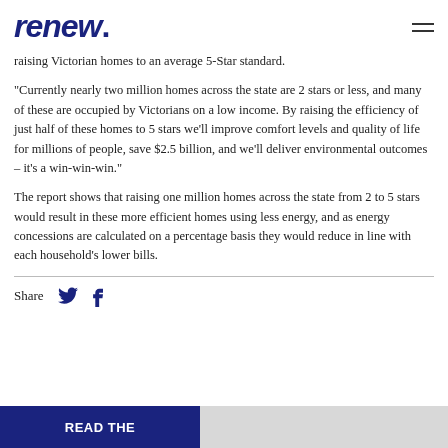renew.
raising Victorian homes to an average 5-Star standard.
“Currently nearly two million homes across the state are 2 stars or less, and many of these are occupied by Victorians on a low income. By raising the efficiency of just half of these homes to 5 stars we’ll improve comfort levels and quality of life for millions of people, save $2.5 billion, and we’ll deliver environmental outcomes – it’s a win-win-win.”
The report shows that raising one million homes across the state from 2 to 5 stars would result in these more efficient homes using less energy, and as energy concessions are calculated on a percentage basis they would reduce in line with each household’s lower bills.
Share
READ THE